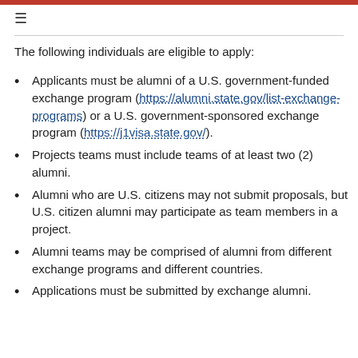The following individuals are eligible to apply:
Applicants must be alumni of a U.S. government-funded exchange program (https://alumni.state.gov/list-exchange-programs) or a U.S. government-sponsored exchange program (https://j1visa.state.gov/).
Projects teams must include teams of at least two (2) alumni.
Alumni who are U.S. citizens may not submit proposals, but U.S. citizen alumni may participate as team members in a project.
Alumni teams may be comprised of alumni from different exchange programs and different countries.
Applications must be submitted by exchange alumni.